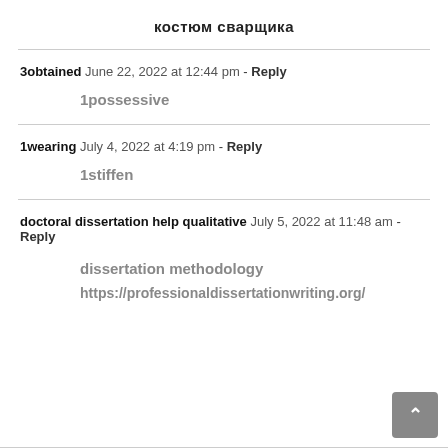костюм сварщика
3obtained  June 22, 2022 at 12:44 pm - Reply
1possessive
1wearing  July 4, 2022 at 4:19 pm - Reply
1stiffen
doctoral dissertation help qualitative  July 5, 2022 at 11:48 am - Reply
dissertation methodology
https://professionaldissertationwriting.org/